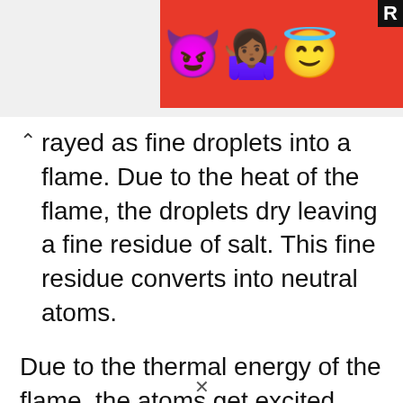[Figure (screenshot): Advertisement banner with emoji characters (devil, woman, angel) on a red background with a partial 'R' label in top right corner]
rayed as fine droplets into a flame. Due to the heat of the flame, the droplets dry leaving a fine residue of salt. This fine residue converts into neutral atoms.
Due to the thermal energy of the flame, the atoms get excited and after that return to the ground state. In this process of return to the ground state, excited atoms emit radiation of a specific wavelength. This wavelength of